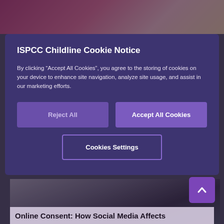[Figure (photo): Top portion of a webpage showing people (blurred background), partially visible above the cookie notice modal.]
ISPCC Childline Cookie Notice
By clicking “Accept All Cookies”, you agree to the storing of cookies on your device to enhance site navigation, analyze site usage, and assist in our marketing efforts.
Reject All
Accept All Cookies
Cookies Settings
[Figure (photo): Bottom portion of a webpage showing a woman in a white shirt against a bookshelf background, partially visible below the cookie notice modal.]
Online Consent: How Social Media Affects